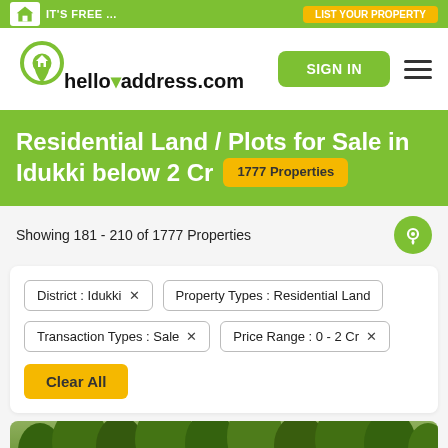IT'S FREE ...
[Figure (logo): helloaddress.com logo with house location pin icon]
SIGN IN
Residential Land / Plots for Sale in Idukki below 2 Cr  1777 Properties
Showing 181 - 210 of 1777 Properties
District : Idukki ×
Property Types : Residential Land
Transaction Types : Sale ×
Price Range : 0 - 2 Cr ×
Clear All
[Figure (photo): Green tropical trees/vegetation photo strip at bottom]